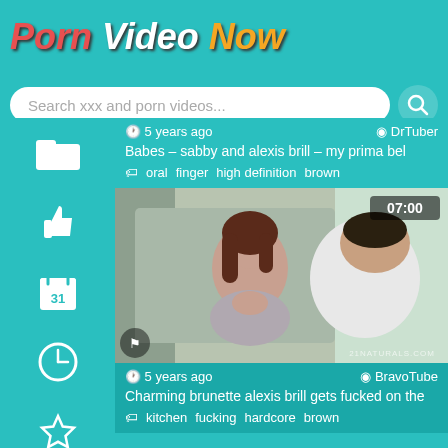Porn Video Now
Search xxx and porn videos...
5 years ago   DrTuber
Babes – sabby and alexis brill – my prima bel
oral  finger  high definition  brown
[Figure (photo): Video thumbnail showing a brunette woman and a man facing each other intimately, duration 07:00]
5 years ago   BravoTube
Charming brunette alexis brill gets fucked on the
kitchen  fucking  hardcore  brown